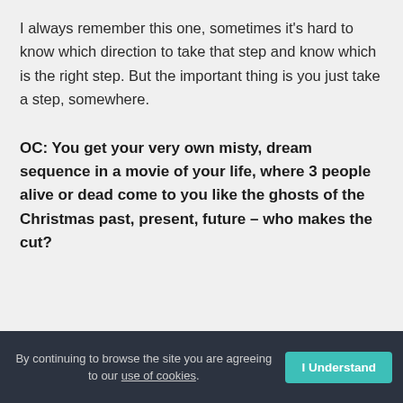I always remember this one, sometimes it's hard to know which direction to take that step and know which is the right step. But the important thing is you just take a step, somewhere.
OC: You get your very own misty, dream sequence in a movie of your life, where 3 people alive or dead come to you like the ghosts of the Christmas past, present, future – who makes the cut?
By continuing to browse the site you are agreeing to our use of cookies. I Understand